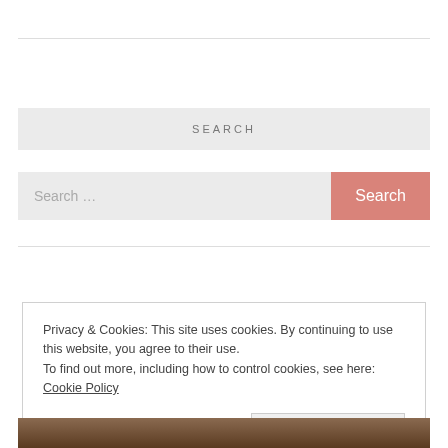SEARCH
Search …
Search
Privacy & Cookies: This site uses cookies. By continuing to use this website, you agree to their use.
To find out more, including how to control cookies, see here: Cookie Policy
Close and accept